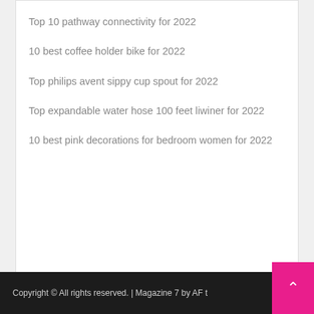Top 10 pathway connectivity for 2022
10 best coffee holder bike for 2022
Top philips avent sippy cup spout for 2022
Top expandable water hose 100 feet liwiner for 2022
10 best pink decorations for bedroom women for 2022
Recent Comments
Copyright © All rights reserved. | Magazine 7 by AF t